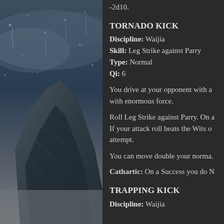[Figure (illustration): A dark atmospheric illustration showing a rocky mountain or figure silhouette with rain or water droplets on a glass surface in the foreground, blue-grey tones.]
-2d10.
TORNADO KICK
Discipline: Waijia
Skill: Leg Strike against Parry
Type: Normal
Qi: 6
You drive at your opponent with a... with enormous force.
Roll Leg Strike against Parry. On a... If your attack roll beats the Wits o... attempt.
You can move double your norma...
Cathartic: On a Success you do N...
TRAPPING KICK
Discipline: Waijia